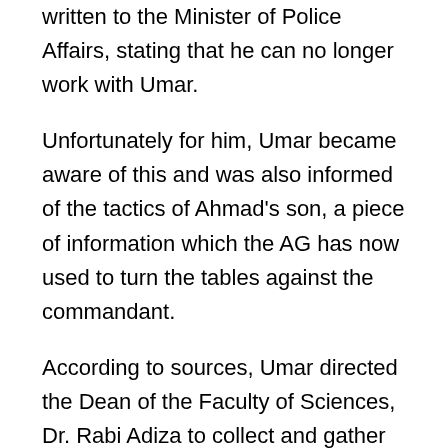written to the Minister of Police Affairs, stating that he can no longer work with Umar.
Unfortunately for him, Umar became aware of this and was also informed of the tactics of Ahmad's son, a piece of information which the AG has now used to turn the tables against the commandant.
According to sources, Umar directed the Dean of the Faculty of Sciences, Dr. Rabi Adiza to collect and gather all answer booklets of the Commandant's son from the examiners in the Biological Sciences department and give him to ensure that no form of assistance is rendered to the son so he will be discharged to disgrace the